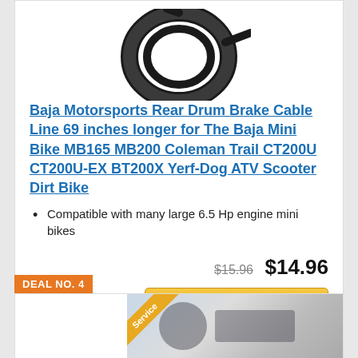[Figure (photo): Partial view of a black brake cable coiled, shown at the top of the product card]
Baja Motorsports Rear Drum Brake Cable Line 69 inches longer for The Baja Mini Bike MB165 MB200 Coleman Trail CT200U CT200U-EX BT200X Yerf-Dog ATV Scooter Dirt Bike
Compatible with many large 6.5 Hp engine mini bikes
$15.96  $14.96
Check on Amazon
DEAL NO. 4
[Figure (photo): Partial product image for Deal No. 4 showing a person and bike parts, with an orange Service corner badge]